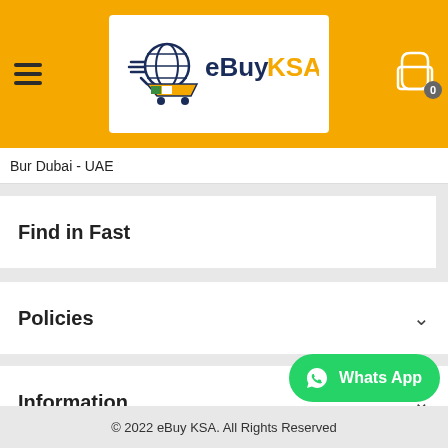[Figure (logo): eBuy KSA logo with shopping cart icon and globe, text: eBuy KSA in dark blue and orange]
Bur Dubai - UAE
Find in Fast
Policies
Information
Whats App
© 2022 eBuy KSA. All Rights Reserved